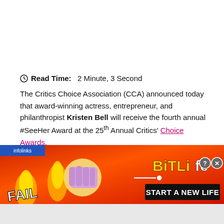Read Time: 2 Minute, 3 Second
The Critics Choice Association (CCA) announced today that award-winning actress, entrepreneur, and philanthropist Kristen Bell will receive the fourth annual #SeeHer Award at the 25th Annual Critics' Choice Awards.
The star-studded gala will once again be hosted by film,
[Figure (other): Advertisement banner for BitLife mobile game with red/orange background, 'FAIL' text, cartoon character, and 'START A NEW LIFE' call to action. Contains infolinks label bar.]